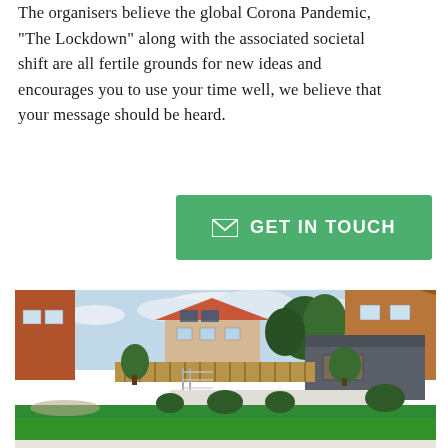The organisers believe the global Corona Pandemic, "The Lockdown" along with the associated societal shift are all fertile grounds for new ideas and encourages you to use your time well, we believe that your message should be heard.
[Figure (other): Green button with envelope icon and text GET IN TOUCH]
[Figure (photo): Photograph of a modern residential garden with bright green lawn in foreground, white patio steps, neatly trimmed shrubs, a grey outbuilding/garage, timber fencing, trees and neighbouring houses in the background under a cloudy sky.]